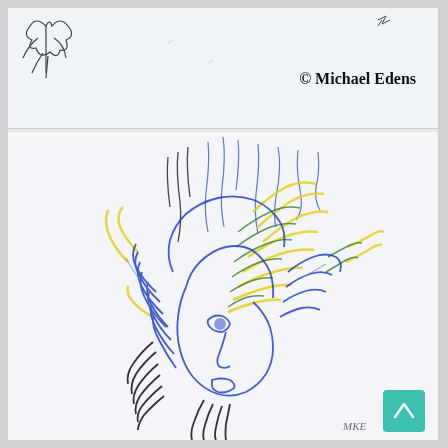[Figure (illustration): Small sketch drawing at top — loose line drawing of a flower or abstract shape in the upper left, with small scribbled marks in the upper right, on a light blue-white background.]
© Michael Edens
[Figure (illustration): Expressive ballpoint pen portrait of a person's face with wildly scribbled hair using blue, yellow, green, and black colors. The face looks upward and is rendered in blue ink with dense cross-hatching. Hair explodes outward in chaotic colored strokes. Artist signature 'MKE' visible at bottom right.]